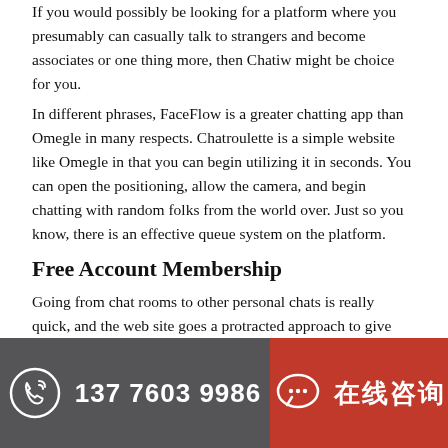If you would possibly be looking for a platform where you presumably can casually talk to strangers and become associates or one thing more, then Chatiw might be choice for you.
In different phrases, FaceFlow is a greater chatting app than Omegle in many respects. Chatroulette is a simple website like Omegle in that you can begin utilizing it in seconds. You can open the positioning, allow the camera, and begin chatting with random folks from the world over. Just so you know, there is an effective queue system on the platform.
Free Account Membership
Going from chat rooms to other personal chats is really quick, and the web site goes a protracted approach to give people a direct expertise for transferring across the site. There isn't a lot to the registration process for individuals on Chatiw's website, so that is very quick to do. However, this implies there is no verification system in place both, which can be a difficulty. Still, that is very quick and you can start
137 7603 9986 | 在线咨询